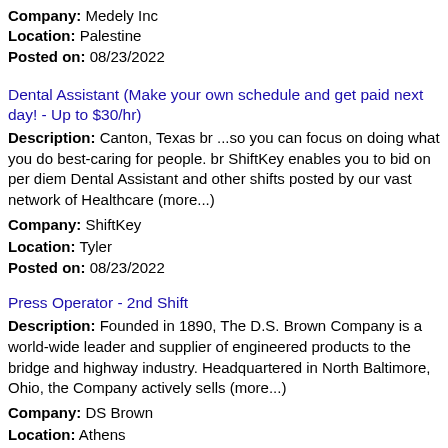Company: Medely Inc
Location: Palestine
Posted on: 08/23/2022
Dental Assistant (Make your own schedule and get paid next day! - Up to $30/hr)
Description: Canton, Texas br ...so you can focus on doing what you do best-caring for people. br ShiftKey enables you to bid on per diem Dental Assistant and other shifts posted by our vast network of Healthcare (more...)
Company: ShiftKey
Location: Tyler
Posted on: 08/23/2022
Press Operator - 2nd Shift
Description: Founded in 1890, The D.S. Brown Company is a world-wide leader and supplier of engineered products to the bridge and highway industry. Headquartered in North Baltimore, Ohio, the Company actively sells (more...)
Company: DS Brown
Location: Athens
Posted on: 08/23/2022
Tire Service Technician - Loop 323